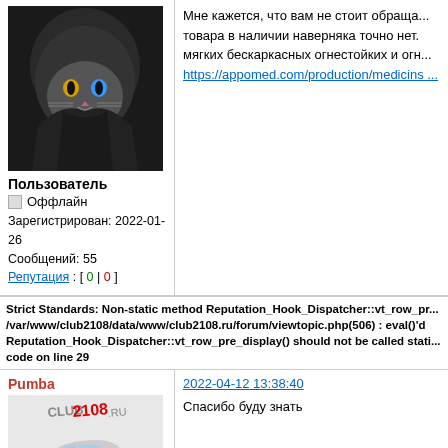[Figure (photo): Avatar image of a cat wearing a hoodie with heterochromia eyes]
Пользователь
Оффлайн
Зарегистрирован: 2022-01-26
Сообщений: 55
Репутация : [ 0 | 0 ]
Мне кажется, что вам не стоит обраща... товара в наличии наверняка точно нет. мягких бескаркасных огнестойких и огн...
https://appomed.com/production/medicins ...
Strict Standards: Non-static method Reputation_Hook_Dispatcher::vt_row_pr... /var/www/club2108/data/www/club2108.ru/forum/viewtopic.php(506) : eval()'d Reputation_Hook_Dispatcher::vt_row_pre_display() should not be called stati... code on line 29
Pumba
2022-04-12 13:38:40
[Figure (photo): Club 2108 logo with a car image]
Спасибо буду знать